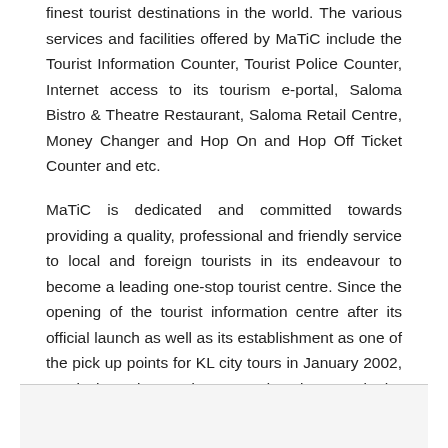finest tourist destinations in the world. The various services and facilities offered by MaTiC include the Tourist Information Counter, Tourist Police Counter, Internet access to its tourism e-portal, Saloma Bistro & Theatre Restaurant, Saloma Retail Centre, Money Changer and Hop On and Hop Off Ticket Counter and etc.
MaTiC is dedicated and committed towards providing a quality, professional and friendly service to local and foreign tourists in its endeavour to become a leading one-stop tourist centre. Since the opening of the tourist information centre after its official launch as well as its establishment as one of the pick up points for KL city tours in January 2002, MaTiC has witnessed a tremendous increase in the number of visitors.